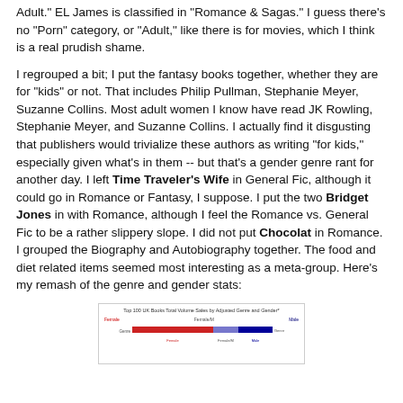Adult." EL James is classified in "Romance & Sagas." I guess there's no "Porn" category, or "Adult," like there is for movies, which I think is a real prudish shame.
I regrouped a bit; I put the fantasy books together, whether they are for "kids" or not. That includes Philip Pullman, Stephanie Meyer, Suzanne Collins. Most adult women I know have read JK Rowling, Stephanie Meyer, and Suzanne Collins. I actually find it disgusting that publishers would trivialize these authors as writing "for kids," especially given what's in them -- but that's a gender genre rant for another day. I left Time Traveler's Wife in General Fic, although it could go in Romance or Fantasy, I suppose. I put the two Bridget Jones in with Romance, although I feel the Romance vs. General Fic to be a rather slippery slope. I did not put Chocolat in Romance. I grouped the Biography and Autobiography together. The food and diet related items seemed most interesting as a meta-group. Here's my remash of the genre and gender stats:
[Figure (bar-chart): Horizontal bar chart showing Female, Female/M, and Male categories]